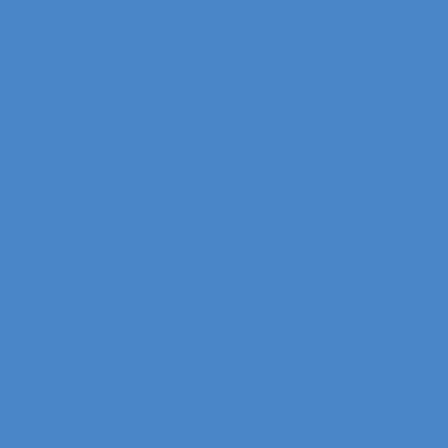Harley-Davidson Electra Glide Classic Fire/Rescue FLHTCU. 2010 Harley-Davidson Police FLHTP. 2008 Harley-Davidson FLHTCUSE3. 2008 Harley-Davidson Electra Glide Ultra Classic Firefighter Officer SE FLHTCU. 2014 Harley-Davidson Electra Glide Ultra Classic Firefighter SE FLHTCU. 2014 Harley-Davidson Electra Glide Classic FLHTP. 2008 Harley-Davidson Electra Glide Ultra Classic Shrine SE FLHTCU. Harley-Davidson Electra Glide Ultra Classic Project Rushmore FLHTCU. Harley-Davidson Electra Glide Ultra Classic Shrine SE FLHTCU. 2008 Harley-Davidson Electra Glide Ultra Classic Anniversary FLHTK. 2015 Harley-Davidson Electra Glide Ultra Classic FLHTCU. not arrive at the same ti...